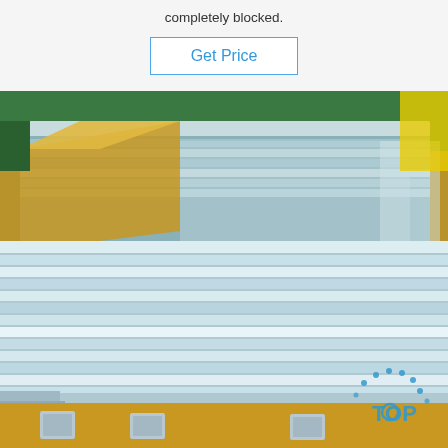completely blocked.
Get Price
[Figure (photo): Stack of shiny aluminum or steel sheets/plates laid flat on brown kraft paper packaging material, with some sheets in clear plastic wrapping. A blue 'TOP' logo watermark visible in the bottom-right corner. Green walls visible in background.]